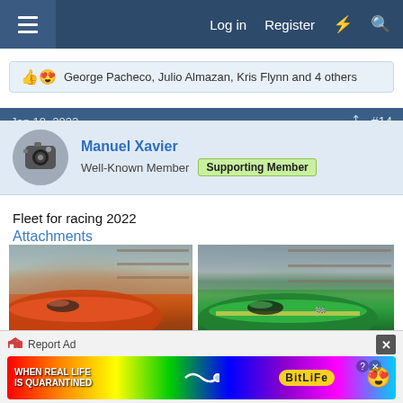Log in  Register
George Pacheco, Julio Almazan, Kris Flynn and 4 others
Jan 18, 2022  #14
Manuel Xavier
Well-Known Member  Supporting Member
Fleet for racing 2022
Attachments
[Figure (photo): RC racing boat in red, workshop background]
[Figure (photo): RC racing boat in green, workshop background]
Report Ad